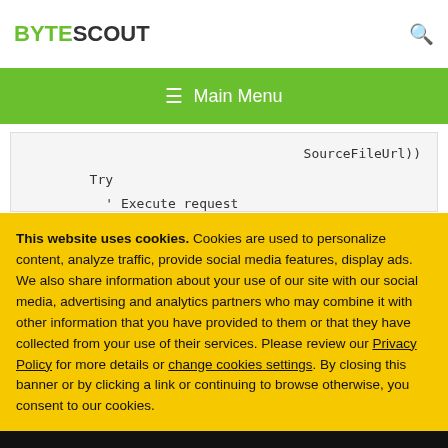BYTESCOUT
≡ Main Menu
[Figure (screenshot): Code snippet showing SourceFileUrl)) and Try and ' Execute request lines in a code editor with light gray background]
This website uses cookies. Cookies are used to personalize content, analyze traffic, provide social media features, display ads. We also share information about your use of our site with our social media, advertising and analytics partners who may combine it with other information that you have provided to them or that they have collected from your use of their services. Please review our Privacy Policy for more details or change cookies settings. By closing this banner or by clicking a link or continuing to browse otherwise, you consent to our cookies.
OK